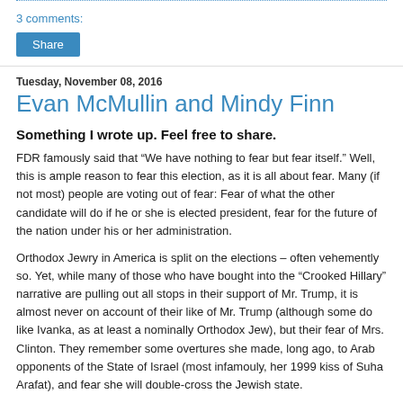3 comments:
Share
Tuesday, November 08, 2016
Evan McMullin and Mindy Finn
Something I wrote up. Feel free to share.
FDR famously said that “We have nothing to fear but fear itself.” Well, this is ample reason to fear this election, as it is all about fear. Many (if not most) people are voting out of fear: Fear of what the other candidate will do if he or she is elected president, fear for the future of the nation under his or her administration.
Orthodox Jewry in America is split on the elections – often vehemently so. Yet, while many of those who have bought into the “Crooked Hillary” narrative are pulling out all stops in their support of Mr. Trump, it is almost never on account of their like of Mr. Trump (although some do like Ivanka, as at least a nominally Orthodox Jew), but their fear of Mrs. Clinton. They remember some overtures she made, long ago, to Arab opponents of the State of Israel (most infamouly, her 1999 kiss of Suha Arafat), and fear she will double-cross the Jewish state.